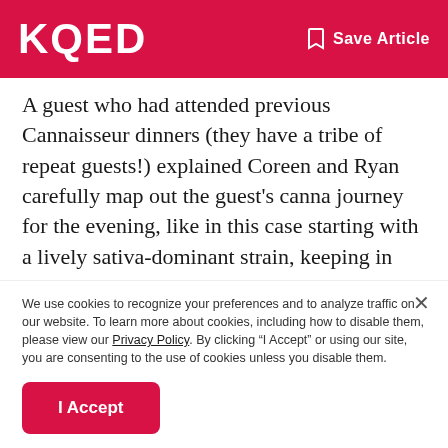KQED   Save Article
A guest who had attended previous Cannaisseur dinners (they have a tribe of repeat guests!) explained Coreen and Ryan carefully map out the guest’s canna journey for the evening, like in this case starting with a lively sativa-dominant strain, keeping in mind the reception’s edibles should be kicking in soon thereafter, which is when they timed a CBD pairing. It was designed to downshift the intensity, just when the party reached a rather feverish pitch
We use cookies to recognize your preferences and to analyze traffic on our website. To learn more about cookies, including how to disable them, please view our Privacy Policy. By clicking “I Accept” or using our site, you are consenting to the use of cookies unless you disable them.
I Accept